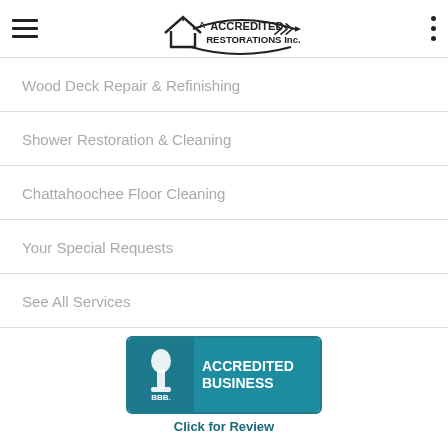[Figure (logo): A Accredited Restorations Inc. company logo with house icon and arrow]
Wood Deck Repair & Refinishing
Shower Restoration & Cleaning
Chattahoochee Floor Cleaning
Your Special Requests
See All Services
[Figure (logo): BBB Accredited Business badge with Click for Review text]